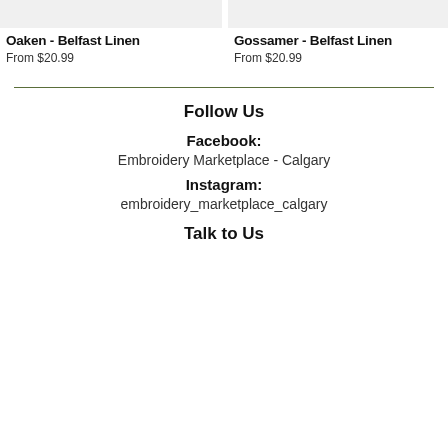[Figure (photo): Product image placeholder for Oaken - Belfast Linen]
Oaken - Belfast Linen
From $20.99
[Figure (photo): Product image placeholder for Gossamer - Belfast Linen]
Gossamer - Belfast Linen
From $20.99
Follow Us
Facebook:
Embroidery Marketplace - Calgary
Instagram:
embroidery_marketplace_calgary
Talk to Us